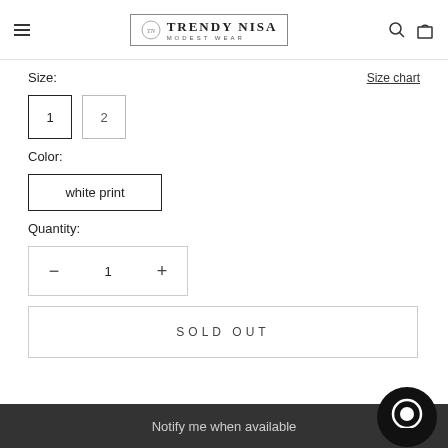Trendy Nisa Modest Wear
Size:
Size chart
1  2
Color:
white print
Quantity:
− 1 +
SOLD OUT
Notify me when available